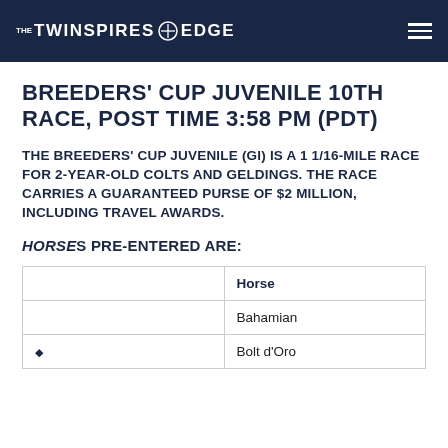THE TWINSPIRES EDGE
BREEDERS' CUP JUVENILE 10TH RACE, POST TIME 3:58 PM (PDT)
THE BREEDERS' CUP JUVENILE (GI) IS A 1 1/16-MILE RACE FOR 2-YEAR-OLD COLTS AND GELDINGS. THE RACE CARRIES A GUARANTEED PURSE OF $2 MILLION, INCLUDING TRAVEL AWARDS.
HORSES PRE-ENTERED ARE:
|  | Horse |
| --- | --- |
|  | Bahamian |
| ♦ | Bolt d'Oro |